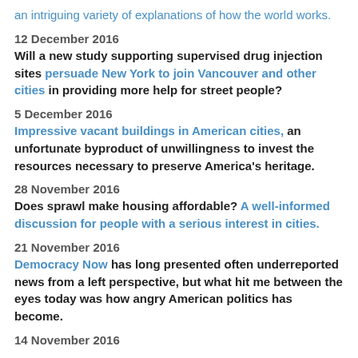an intriguing variety of explanations of how the world works.
12 December 2016
Will a new study supporting supervised drug injection sites persuade New York to join Vancouver and other cities in providing more help for street people?
5 December 2016
Impressive vacant buildings in American cities, an unfortunate byproduct of unwillingness to invest the resources necessary to preserve America's heritage.
28 November 2016
Does sprawl make housing affordable? A well-informed discussion for people with a serious interest in cities.
21 November 2016
Democracy Now has long presented often underreported news from a left perspective, but what hit me between the eyes today was how angry American politics has become.
14 November 2016